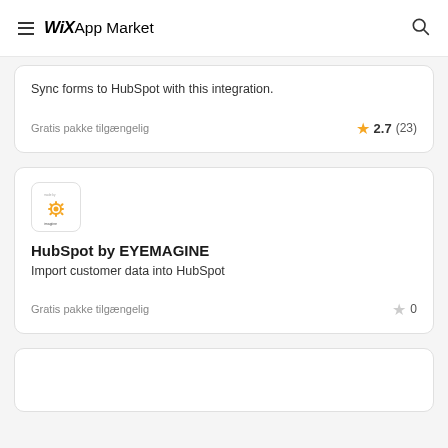Wix App Market
Sync forms to HubSpot with this integration.
Gratis pakke tilgængelig
2.7 (23)
[Figure (logo): HubSpot by EYEMAGINE app logo — HubSpot orange sprocket icon with 'made by imagiine' text]
HubSpot by EYEMAGINE
Import customer data into HubSpot
Gratis pakke tilgængelig
0